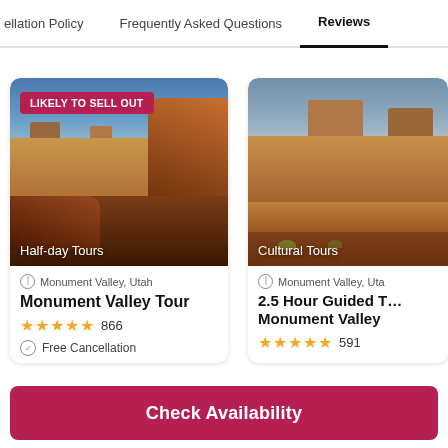cellation Policy   Frequently Asked Questions   Reviews
[Figure (screenshot): Screenshot of a travel booking website showing two tour cards for Monument Valley, Utah. Left card has a 'LIKELY TO SELL OUT' badge, image of Monument Valley buttes, labeled 'Half-day Tours', with title 'Monument Valley Tour', 5-star rating with 866 reviews, and Free Cancellation. Right card (partially visible) shows 'Cultural Tours', labeled 'Monument Valley, Uta...', title '2.5 Hour Guided T... Monument Valley', 5-star rating with 591 reviews. A red 'Check Availability' button appears at the bottom.]
Monument Valley, Utah
Monument Valley Tour
866
Free Cancellation
Monument Valley, Uta
2.5 Hour Guided T... Monument Valley
591
Check Availability